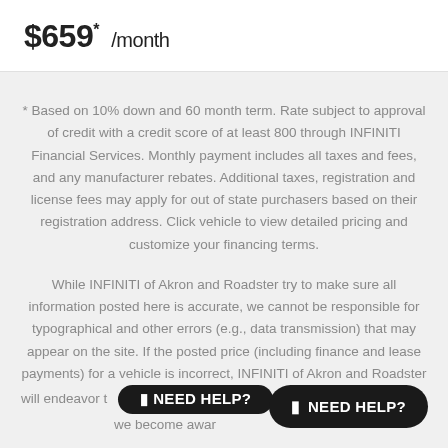$659* /month
* Based on 10% down and 60 month term. Rate subject to approval of credit with a credit score of at least 800 through INFINITI Financial Services. Monthly payment includes all taxes and fees, and any manufacturer rebates. Additional taxes, registration and license fees may apply for out of state purchasers based on their registration address. Click vehicle to view detailed pricing and customize your financing terms.
While INFINITI of Akron and Roadster try to make sure all information posted here is accurate, we cannot be responsible for typographical and other errors (e.g., data transmission) that may appear on the site. If the posted price (including finance and lease payments) for a vehicle is incorrect, INFINITI of Akron and Roadster will endeavor to correct prices as soon as we become aware of the error. In the